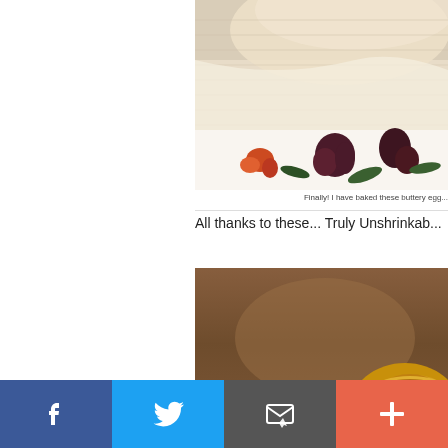[Figure (photo): Close-up photo of cream/beige fabric with floral pattern fabric visible below]
Finally! I have baked these buttery egg...
All thanks to these... Truly Unshrinkab...
[Figure (photo): Photo of a golden/yellow item on a blurred brown wooden background]
[Figure (infographic): Social sharing bar with Facebook, Twitter, Email, and Plus buttons]